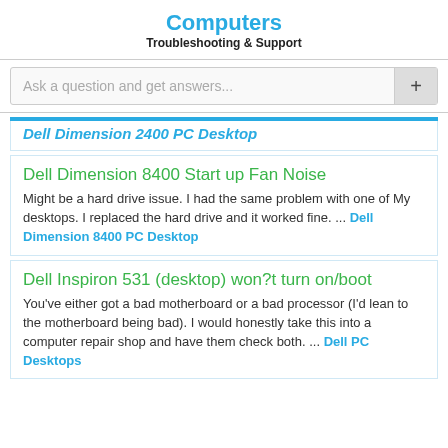Computers
Troubleshooting & Support
Ask a question and get answers...
Dell Dimension 2400 PC Desktop
Dell Dimension 8400 Start up Fan Noise
Might be a hard drive issue. I had the same problem with one of My desktops. I replaced the hard drive and it worked fine. ... Dell Dimension 8400 PC Desktop
Dell Inspiron 531 (desktop) won?t turn on/boot
You've either got a bad motherboard or a bad processor (I'd lean to the motherboard being bad). I would honestly take this into a computer repair shop and have them check both. ... Dell PC Desktops